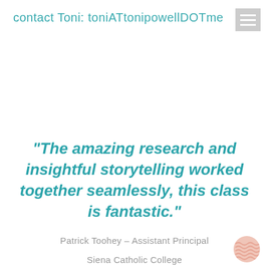contact Toni:  toniATtonipowellDOTme
“The amazing research and insightful storytelling worked together seamlessly, this class is fantastic.”
Patrick Toohey – Assistant Principal
Siena Catholic College